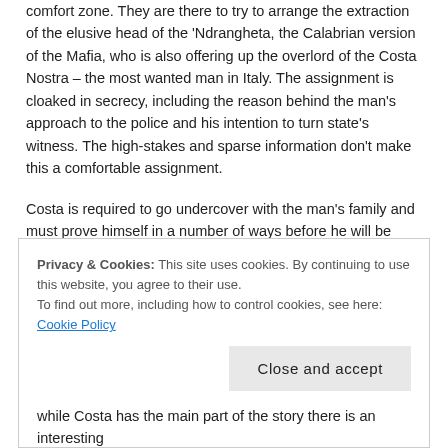Costa is required to go undercover with the man’s family and must prove himself in a number of ways before he will be accepted by those in the 'Ndrangheta. This offers a few thrills and is a test of Costa’s metal. Once he has been accepted the story twists and turns as the opportunity comes for the authorities to make their move.
Privacy & Cookies: This site uses cookies. By continuing to use this website, you agree to their use.
To find out more, including how to control cookies, see here: Cookie Policy
while Costa has the main part of the story there is an interesting